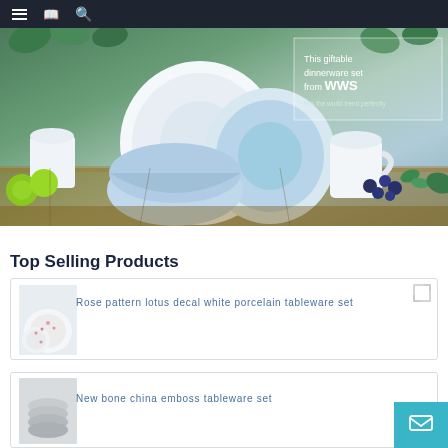Navigation bar with menu, book, and search icons
[Figure (photo): Hero banner showing a dinnerware set with blue and white plates, bowls, mugs on a rustic wooden table surrounded by green leaves and blueberries. Overlay badge reads: This giftable dinnerware set from WWS Fits the world trend perfectly]
Top Selling Products
[Figure (photo): Rose pattern lotus decal white porcelain tableware set product thumbnail]
Rose pattern lotus decal white porcelain tableware set
[Figure (photo): New bone china emboss tableware set product thumbnail]
New bone china emboss tableware set